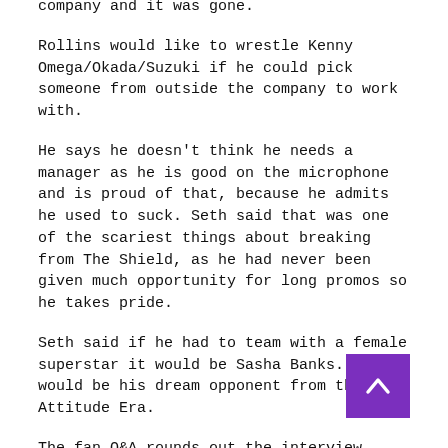company and it was gone.
Rollins would like to wrestle Kenny Omega/Okada/Suzuki if he could pick someone from outside the company to work with.
He says he doesn't think he needs a manager as he is good on the microphone and is proud of that, because he admits he used to suck. Seth said that was one of the scariest things about breaking from The Shield, as he had never been given much opportunity for long promos so he takes pride.
Seth said if he had to team with a female superstar it would be Sasha Banks. HBK would be his dream opponent from the Attitude Era.
The fan Q&A rounds out the interview segment with Seth Rollins, as Sam wishes him good luck in his match at SummerSlam (this was taped prior to the event).
End of Interview